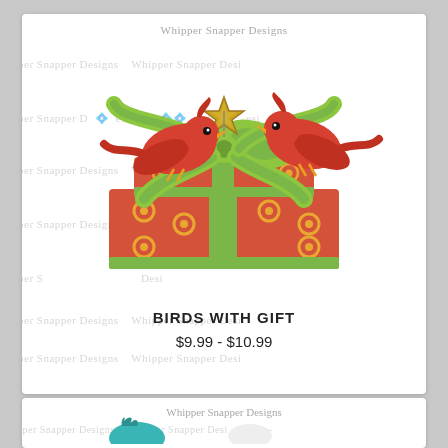[Figure (illustration): Two red cardinal birds holding a gold star ornament between them, perched above a stack of wrapped Christmas gifts with green bow and ribbon, on white card with 'Whipper Snapper Designs' watermark]
BIRDS WITH GIFT
$9.99 - $10.99
[Figure (illustration): Partial view of second product card showing 'Whipper Snapper Designs' watermark text and the top portion of another illustration with teal/turquoise bird character]